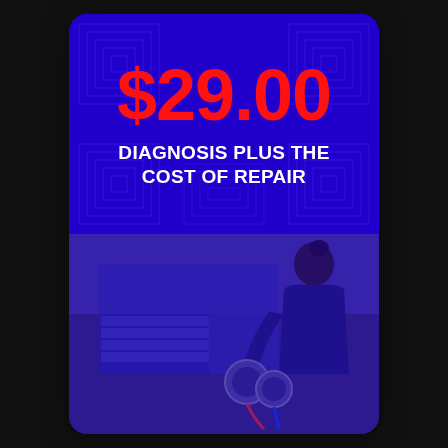$29.00
DIAGNOSIS PLUS THE COST OF REPAIR
[Figure (photo): A technician (seen from behind) working on an HVAC or appliance unit, holding gauges, with a blue color overlay tint over the entire photo.]